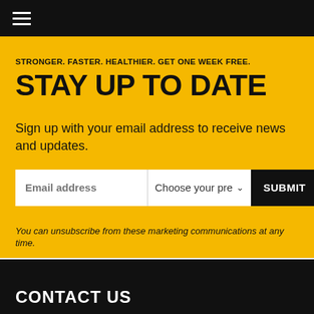≡ (navigation menu)
STRONGER. FASTER. HEALTHIER. GET ONE WEEK FREE.
STAY UP TO DATE
Sign up with your email address to receive news and updates.
Email address | Choose your pre▾ | SUBMIT
You can unsubscribe from these marketing communications at any time.
CONTACT US